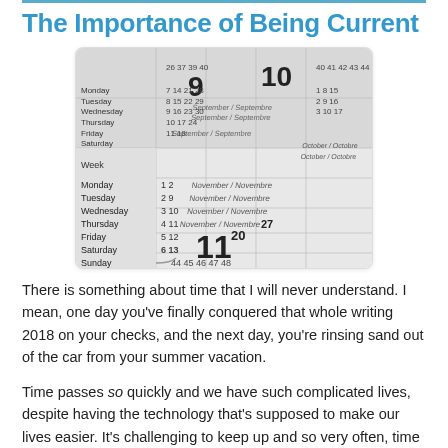The Importance of Being Current
[Figure (photo): Close-up photograph of a printed calendar showing months including September and November, with weeks and day numbers visible.]
There is something about time that I will never understand. I mean, one day you've finally conquered that whole writing 2018 on your checks, and the next day, you’re rinsing sand out of the car from your summer vacation.
Time passes so quickly and we have such complicated lives, despite having the technology that’s supposed to make our lives easier. It’s challenging to keep up and so very often, time catches us napping.